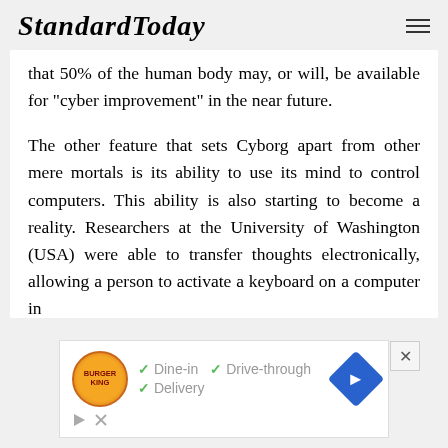StandardToday
that 50% of the human body may, or will, be available for "cyber improvement" in the near future.
The other feature that sets Cyborg apart from other mere mortals is its ability to use its mind to control computers. This ability is also starting to become a reality. Researchers at the University of Washington (USA) were able to transfer thoughts electronically, allowing a person to activate a keyboard on a computer in
[Figure (screenshot): Burger King advertisement banner showing logo, checkmarks for Dine-in, Drive-through, and Delivery options, and a navigation diamond icon. Close button (x) visible at top right.]